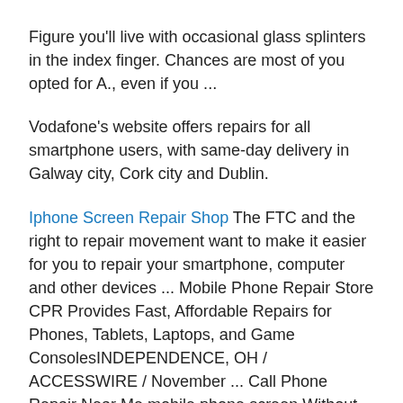Figure you'll live with occasional glass splinters in the index finger. Chances are most of you opted for A., even if you ...
Vodafone's website offers repairs for all smartphone users, with same-day delivery in Galway city, Cork city and Dublin.
Iphone Screen Repair Shop The FTC and the right to repair movement want to make it easier for you to repair your smartphone, computer and other devices ... Mobile Phone Repair Store CPR Provides Fast, Affordable Repairs for Phones, Tablets, Laptops, and Game ConsolesINDEPENDENCE, OH / ACCESSWIRE / November ... Call Phone Repair Near Me mobile phone screen Without
Smartphone Repair. If you own a smartphone, you